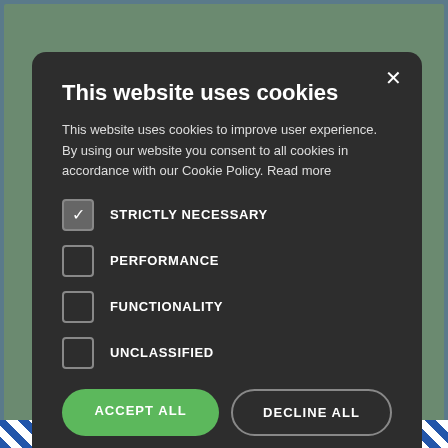[Figure (screenshot): Background photo of industrial/warehouse area with green corrugated metal building and truck/loading area visible. Cookie consent modal overlay on dark background.]
This website uses cookies
This website uses cookies to improve user experience. By using our website you consent to all cookies in accordance with our Cookie Policy. Read more
STRICTLY NECESSARY (checked)
PERFORMANCE
FUNCTIONALITY
UNCLASSIFIED
ACCEPT ALL | DECLINE ALL
SHOW DETAILS